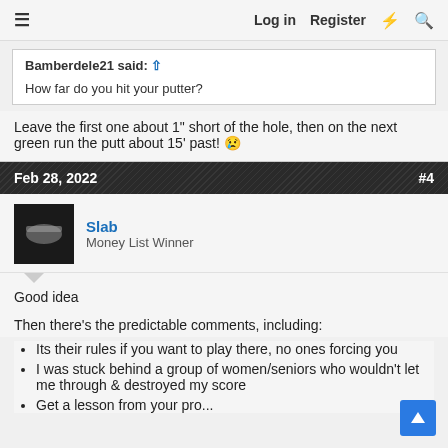≡  Log in  Register  ⚡  🔍
Bamberdele21 said: ↑
How far do you hit your putter?
Leave the first one about 1" short of the hole, then on the next green run the putt about 15' past! 😢
Feb 28, 2022  #4
Slab
Money List Winner
Good idea
Then there's the predictable comments, including:
Its their rules if you want to play there, no ones forcing you
I was stuck behind a group of women/seniors who wouldn't let me through & destroyed my score
Get a lesson from your pro...